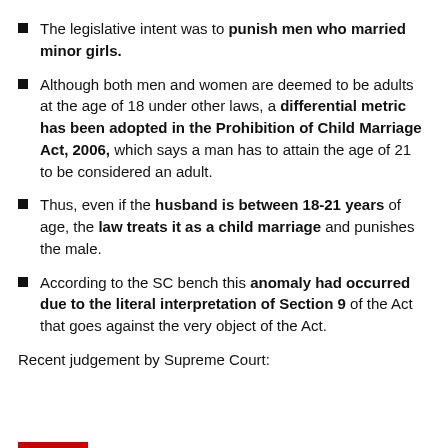The legislative intent was to punish men who married minor girls.
Although both men and women are deemed to be adults at the age of 18 under other laws, a differential metric has been adopted in the Prohibition of Child Marriage Act, 2006, which says a man has to attain the age of 21 to be considered an adult.
Thus, even if the husband is between 18-21 years of age, the law treats it as a child marriage and punishes the male.
According to the SC bench this anomaly had occurred due to the literal interpretation of Section 9 of the Act that goes against the very object of the Act.
Recent judgement by Supreme Court: